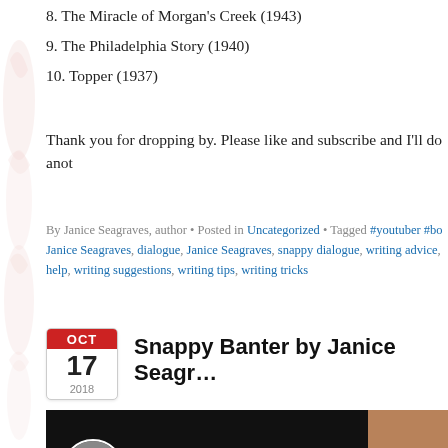8. The Miracle of Morgan's Creek (1943)
9. The Philadelphia Story (1940)
10. Topper (1937)
Thank you for dropping by. Please like and subscribe and I'll do anot
By Janice Seagraves, author • Posted in Uncategorized • Tagged #youtuber #bo... Janice Seagraves, dialogue, Janice Seagraves, snappy dialogue, writing advice, help, writing suggestions, writing tips, writing tricks
Snappy Banter by Janice Seagr…
[Figure (screenshot): YouTube video thumbnail showing 'How to write Snappy Banter' with host avatar and partial photo of a woman on the right]